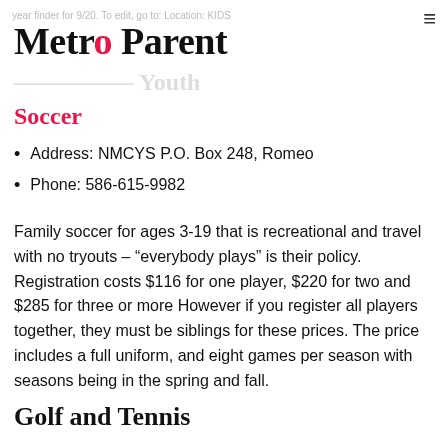Metro Parent
Soccer
Address: NMCYS P.O. Box 248, Romeo
Phone: 586-615-9982
Family soccer for ages 3-19 that is recreational and travel with no tryouts – “everybody plays” is their policy. Registration costs $116 for one player, $220 for two and $285 for three or more However if you register all players together, they must be siblings for these prices. The price includes a full uniform, and eight games per season with seasons being in the spring and fall.
Golf and Tennis